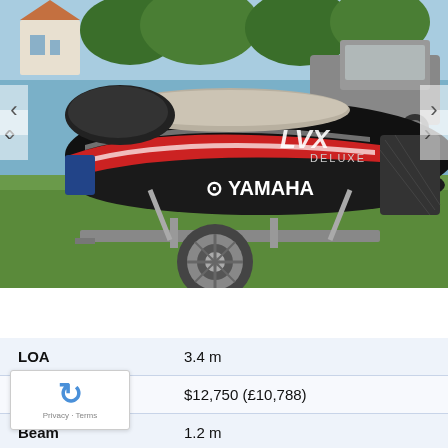[Figure (photo): A black and red Yamaha FZX Deluxe jet ski on a trailer parked on grass, with another jet ski and a pickup truck visible in the background. Navigation arrows on the sides indicate an image carousel.]
| LOA | 3.4 m |
| P | $12,750 (£10,788) |
| Beam | 1.2 m |